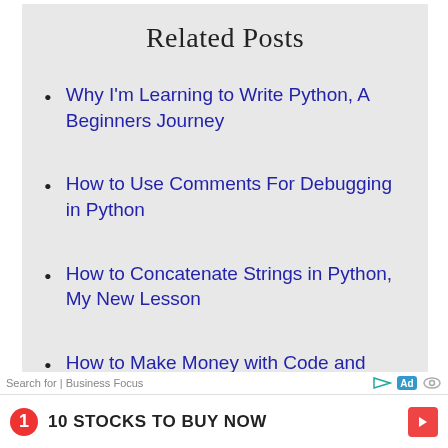Related Posts
Why I'm Learning to Write Python, A Beginners Journey
How to Use Comments For Debugging in Python
How to Concatenate Strings in Python, My New Lesson
How to Make Money with Code and Create a
Search for | Business Focus   [Ad]